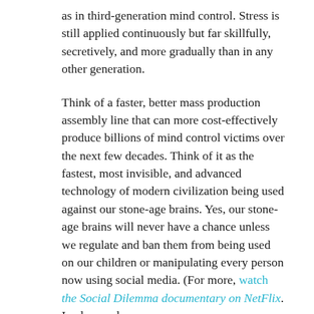as in third-generation mind control. Stress is still applied continuously but far skillfully, secretively, and more gradually than in any other generation.
Think of a faster, better mass production assembly line that can more cost-effectively produce billions of mind control victims over the next few decades. Think of it as the fastest, most invisible, and advanced technology of modern civilization being used against our stone-age brains. Yes, our stone-age brains will never have a chance unless we regulate and ban them from being used on our children or manipulating every person now using social media. (For more, watch the Social Dilemma documentary on NetFlix. In clear and